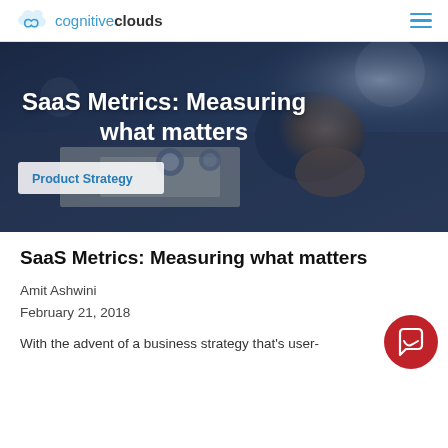cognitiveclouds
[Figure (photo): Hero image showing a hand near papers/documents on a desk with a dark blue tint overlay. White text reads 'SaaS Metrics: Measuring what matters' and a badge reads 'Product Strategy'.]
SaaS Metrics: Measuring what matters
Amit Ashwini
February 21, 2018
With the advent of a business strategy that's user-